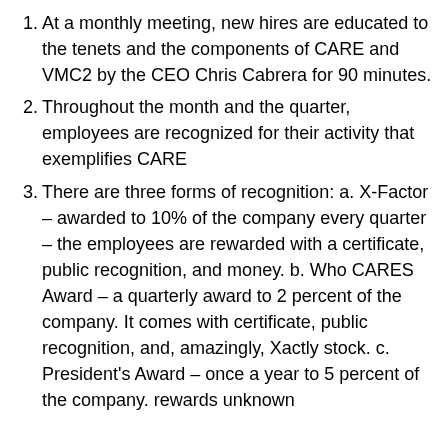At a monthly meeting, new hires are educated to the tenets and the components of CARE and VMC2 by the CEO Chris Cabrera for 90 minutes.
Throughout the month and the quarter, employees are recognized for their activity that exemplifies CARE
There are three forms of recognition: a. X-Factor – awarded to 10% of the company every quarter – the employees are rewarded with a certificate, public recognition, and money. b. Who CARES Award – a quarterly award to 2 percent of the company. It comes with certificate, public recognition, and, amazingly, Xactly stock. c. President's Award – once a year to 5 percent of the company. rewards unknown